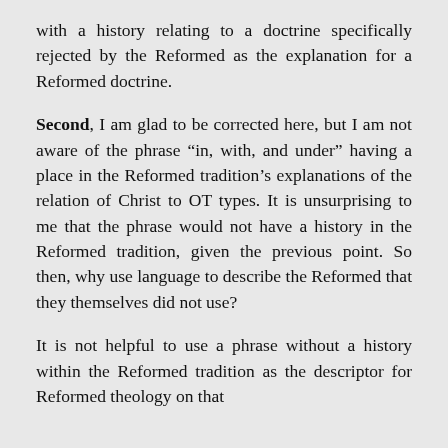with a history relating to a doctrine specifically rejected by the Reformed as the explanation for a Reformed doctrine.
Second, I am glad to be corrected here, but I am not aware of the phrase “in, with, and under” having a place in the Reformed tradition’s explanations of the relation of Christ to OT types. It is unsurprising to me that the phrase would not have a history in the Reformed tradition, given the previous point. So then, why use language to describe the Reformed that they themselves did not use?
It is not helpful to use a phrase without a history within the Reformed tradition as the descriptor for Reformed theology on that